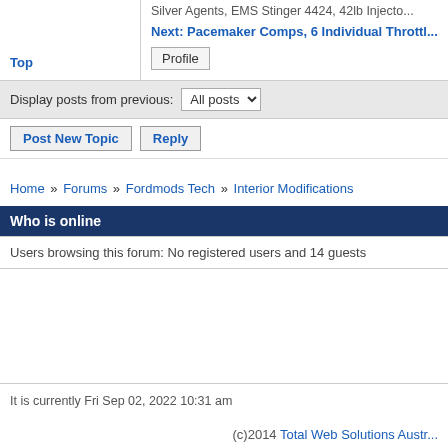Silver Agents, EMS Stinger 4424, 42lb Injecto...
Next: Pacemaker Comps, 6 Individual Throttl...
Top
Profile
Display posts from previous: All posts
Post New Topic   Reply
Home » Forums » Fordmods Tech » Interior Modifications
Who is online
Users browsing this forum: No registered users and 14 guests
It is currently Fri Sep 02, 2022 10:31 am
(c)2014 Total Web Solutions Austr...